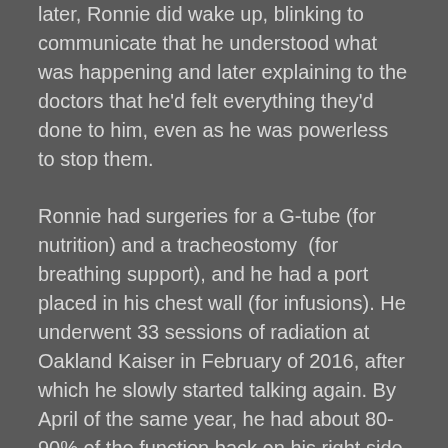later, Ronnie did wake up, blinking to communicate that he understood what was happening and later explaining to the doctors that he'd felt everything they'd done to him, even as he was powerless to stop them.
Ronnie had surgeries for a G-tube (for nutrition) and a tracheostomy (for breathing support), and he had a port placed in his chest wall (for infusions). He underwent 33 sessions of radiation at Oakland Kaiser in February of 2016, after which he slowly started talking again. By April of the same year, he had about 80-90% of the function back on his right side.
The family adds that Ronnie has always been selfless and loving, putting others before himself. At a time when he was unable to speak, he pointed at a few letters to ask his parents, “Are you all doing OK?”